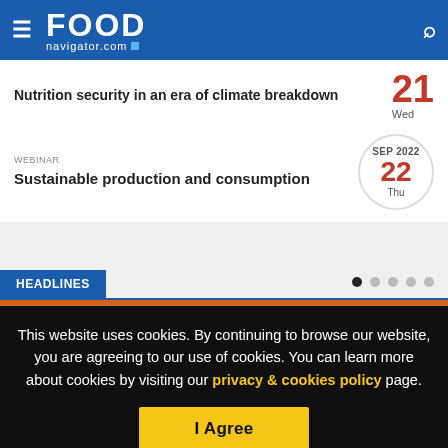FOOD navigator.com
Nutrition security in an era of climate breakdown
WEBINAR
Sustainable production and consumption
HEADLINES
This website uses cookies. By continuing to browse our website, you are agreeing to our use of cookies. You can learn more about cookies by visiting our privacy & cookies policy page.
I Agree